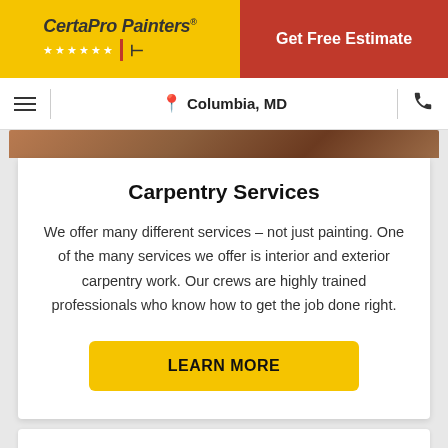[Figure (logo): CertaPro Painters logo with yellow background, stars, and red accent on left side. Red 'Get Free Estimate' button on right side.]
Columbia, MD
[Figure (photo): Partial photo strip showing carpentry/painting work, cropped at top.]
Carpentry Services
We offer many different services – not just painting. One of the many services we offer is interior and exterior carpentry work. Our crews are highly trained professionals who know how to get the job done right.
LEARN MORE